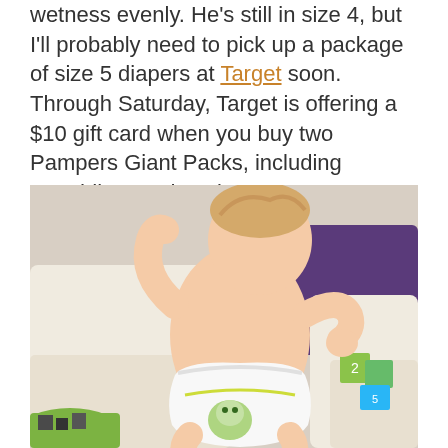wetness evenly. He's still in size 4, but I'll probably need to pick up a package of size 5 diapers at Target soon. Through Saturday, Target is offering a $10 gift card when you buy two Pampers Giant Packs, including Swaddlers and Cruisers.
[Figure (photo): A toddler wearing a diaper with colorful designs standing against a cream-colored sofa. A purple pillow is visible in the background, along with toy building blocks on the right side.]